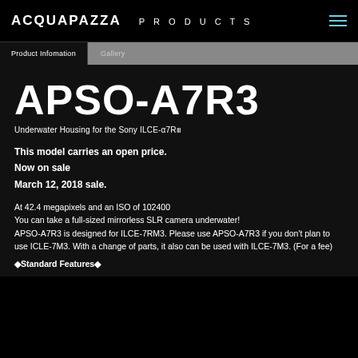ACQUAPAZZA  PRODUCTS
Product Infomation | Gallery
APSO-A7R3
Underwater Housing for the Sony ILCE-α7RIII
This model carries an open price.
Now on sale
March 12, 2018 sale.
At 42.4 megapixels and an ISO of 102400
You can take a full-sized mirrorless SLR camera underwater!
APSO-A7R3 is designed for ILCE-7RM3. Please use APSO-A7R3 if you don't plan to use ICLE-7M3. With a change of parts, it also can be used with ILCE-7M3. (For a fee)
◆Standard Features◆